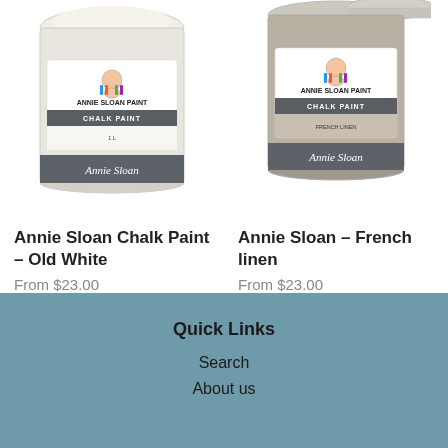[Figure (photo): Annie Sloan Chalk Paint tin - Old White color, white/cream colored paint can with Annie Sloan Paint label and chalk paint band]
Annie Sloan Chalk Paint – Old White
From $23.00
[Figure (photo): Annie Sloan Chalk Paint tin - French Linen color, beige/tan colored paint can with Annie Sloan Paint label and chalk paint band]
Annie Sloan – French linen
From $23.00
Quick Links
Search
About us